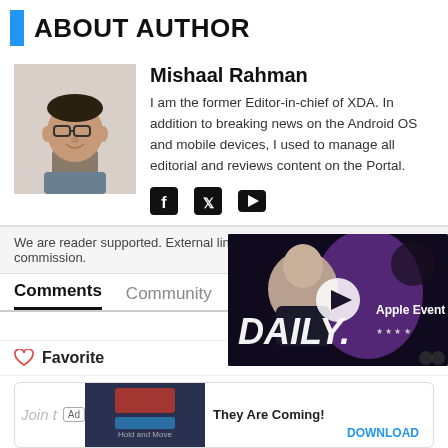ABOUT AUTHOR
Mishaal Rahman
I am the former Editor-in-chief of XDA. In addition to breaking news on the Android OS and mobile devices, I used to manage all editorial and reviews content on the Portal.
[Figure (other): Social media icons: Facebook, Twitter, YouTube]
[Figure (photo): Headshot photo of Mishaal Rahman, a man with glasses wearing a grey shirt]
We are reader supported. External links may earn us a commission.
Comments
Community
[Figure (screenshot): Video overlay showing a person with 'DAILY.' text and 'Apple Event' text on dark background]
Favorite
Join t
They Are Coming!
DOWNLOAD
LOG IN W